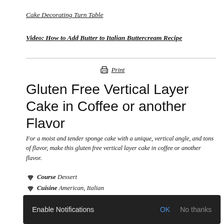Cake Decorating Turn Table
Video: How to Add Butter to Italian Buttercream Recipe
[Figure (other): Horizontal rule divider line]
Print
Gluten Free Vertical Layer Cake in Coffee or another Flavor
For a moist and tender sponge cake with a unique, vertical angle, and tons of flavor, make this gluten free vertical layer cake in coffee or another flavor.
Course Dessert
Cuisine American, Italian
Ingredient Keyword coffee, Italian buttercream, sponge cake
Prep Time
Cook Time 1 day 30 minutes
Enable Notifications OK No thanks